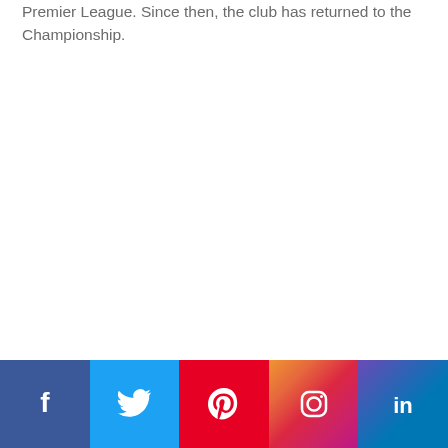Premier League. Since then, the club has returned to the Championship.
Social media links: Facebook, Twitter, Pinterest, Instagram, LinkedIn